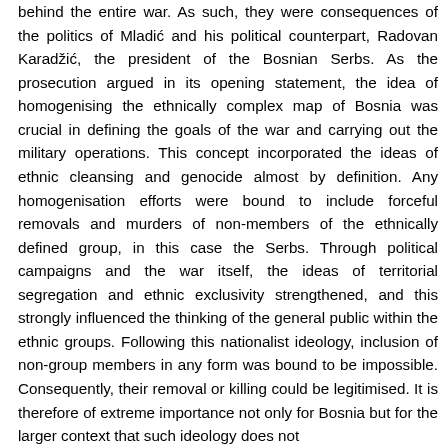behind the entire war. As such, they were consequences of the politics of Mladić and his political counterpart, Radovan Karadžić, the president of the Bosnian Serbs. As the prosecution argued in its opening statement, the idea of homogenising the ethnically complex map of Bosnia was crucial in defining the goals of the war and carrying out the military operations. This concept incorporated the ideas of ethnic cleansing and genocide almost by definition. Any homogenisation efforts were bound to include forceful removals and murders of non-members of the ethnically defined group, in this case the Serbs. Through political campaigns and the war itself, the ideas of territorial segregation and ethnic exclusivity strengthened, and this strongly influenced the thinking of the general public within the ethnic groups. Following this nationalist ideology, inclusion of non-group members in any form was bound to be impossible. Consequently, their removal or killing could be legitimised. It is therefore of extreme importance not only for Bosnia but for the larger context that such ideology does not